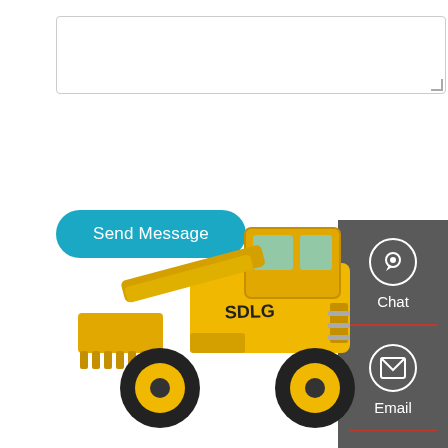[Figure (screenshot): Text area input box with resize handle]
Send Message
[Figure (infographic): Sidebar with Chat, Email, Contact icons on dark gray background]
[Figure (photo): SDLG yellow wheel loader construction machine on white background]